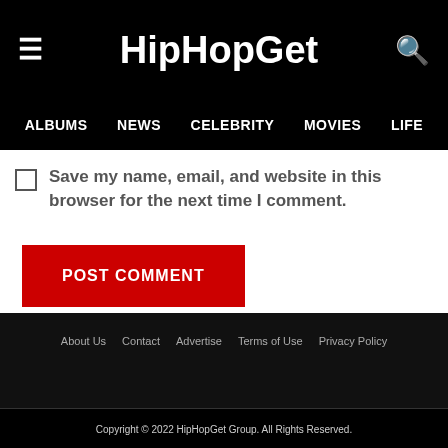HipHopGet
ALBUMS  NEWS  CELEBRITY  MOVIES  LIFE
Save my name, email, and website in this browser for the next time I comment.
POST COMMENT
About Us  Contact  Advertise  Terms of Use  Privacy Policy
Copyright © 2022 HipHopGet Group. All Rights Reserved.